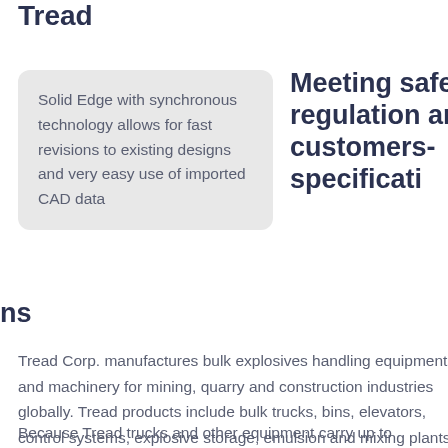Tread
Solid Edge with synchronous technology allows for fast revisions to existing designs and very easy use of imported CAD data
Meeting safety regulations and customers specifications
Tread Corp. manufactures bulk explosives handling equipment and machinery for mining, quarry and construction industries globally. Tread products include bulk trucks, bins, elevators, control systems, explosive storage, emulsion and mixing plants.
Because Tread trucks and other equipment carry up to